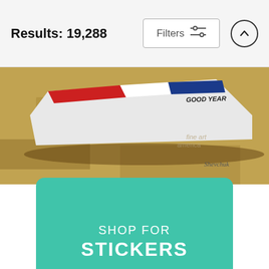Results: 19,288
[Figure (screenshot): Partial product image of a painting showing a BMW 3.5 CSL racing car with Goodyear branding, painted in an impressionistic style. Artist signature visible. Fine Art America watermark overlaid.]
1974 Bmw 3.5 Csl Poster
Yuriy Shevchuk
$33
[Figure (infographic): Teal/mint colored banner with text SHOP FOR STICKERS]